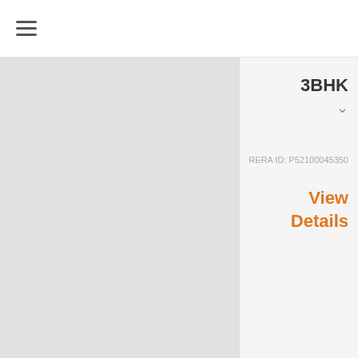[Figure (screenshot): Mobile app screenshot of a real estate listing page showing navigation hamburger menu, two property cards. First card (partially visible) shows 3BHK listing with RERA ID P52100045350 and View Details link in orange. Second card shows aditya-apartments-condominium Elevation image with building illustration, heart/save icon, and property info: Kelka, Koth location, price ₹92.19 L - ₹1.97 Cr with info icon, and Kelk text at bottom.]